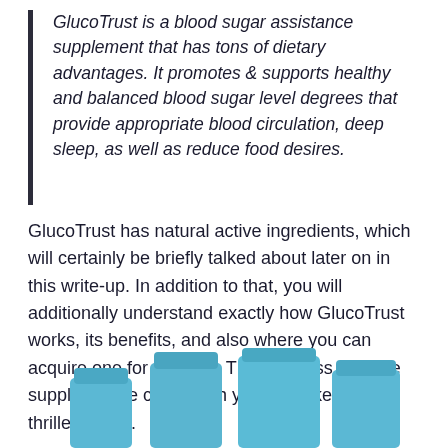GlucoTrust is a blood sugar assistance supplement that has tons of dietary advantages. It promotes & supports healthy and balanced blood sugar level degrees that provide appropriate blood circulation, deep sleep, as well as reduce food desires.
GlucoTrust has natural active ingredients, which will certainly be briefly talked about later on in this write-up. In addition to that, you will additionally understand exactly how GlucoTrust works, its benefits, and also where you can acquire one for yourself. The business likewise supplies price cuts which you may likewise be thrilled about.
[Figure (photo): Blue supplement/medicine bottles of varying heights arranged together at the bottom of the page]